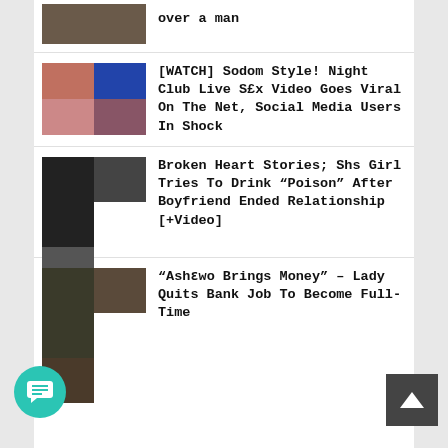over a man
[Figure (photo): Thumbnail mosaic of 4 images related to night club story]
[WATCH] Sodom Style! Night Club Live S£x Video Goes Viral On The Net, Social Media Users In Shock
[Figure (photo): Thumbnail of dark images related to broken heart story]
Broken Heart Stories; Shs Girl Tries To Drink "Poison" After Boyfriend Ended Relationship [+Video]
[Figure (photo): Thumbnail of images related to Ashewo story]
"Ashɛwo Brings Money" – Lady Quits Bank Job To Become Full-Time Ashewo (Vide…